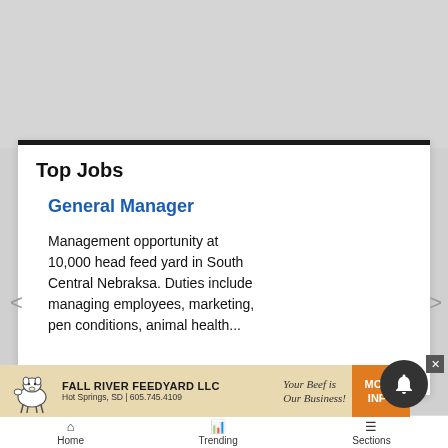Top Jobs
General Manager
Management opportunity at 10,000 head feed yard in South Central Nebraksa. Duties include managing employees, marketing, pen conditions, animal health...
[Figure (infographic): Fall River Feedyard LLC advertisement banner: cow illustration, company name, location Hot Springs SD, phone 605.745.4109, tagline Your Beef is Our Business!, orange MORE INFO button]
Home  Trending  Sections